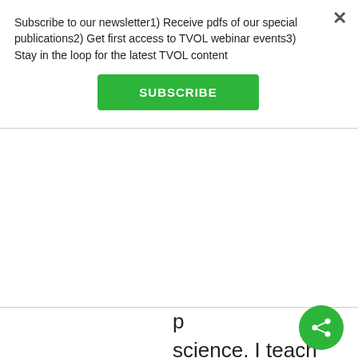Subscribe to our newsletter1) Receive pdfs of our special publications2) Get first access to TVOL webinar events3) Stay in the loop for the latest TVOL content
SUBSCRIBE
science. I teach mostly in the UK but have been confronted by rooms of students from countries where creationism tends to be the